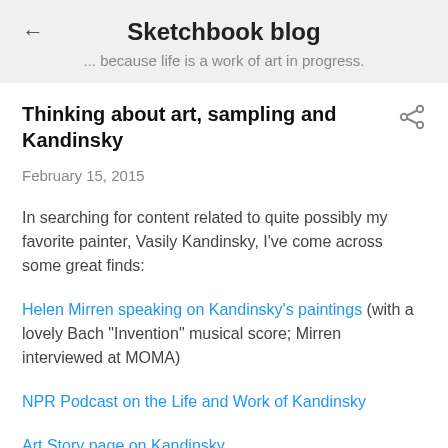Sketchbook blog
... because life is a work of art in progress.
Thinking about art, sampling and Kandinsky
February 15, 2015
In searching for content related to quite possibly my favorite painter, Vasily Kandinsky, I've come across some great finds:
Helen Mirren speaking on Kandinsky's paintings (with a lovely Bach "Invention" musical score; Mirren interviewed at MOMA)
NPR Podcast on the Life and Work of Kandinsky
Art Story page on Kandinsky